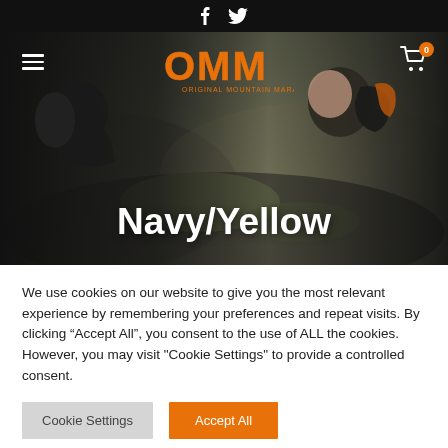OMM - Original Mountain Marathon
[Figure (photo): Two mountain marathon runners leaning forward on rugged rocky terrain, wearing backpacks, one in black shirt and one partially visible, with OMM logo and Navy/Yellow text overlay]
Navy/Yellow
We use cookies on our website to give you the most relevant experience by remembering your preferences and repeat visits. By clicking “Accept All”, you consent to the use of ALL the cookies. However, you may visit "Cookie Settings" to provide a controlled consent.